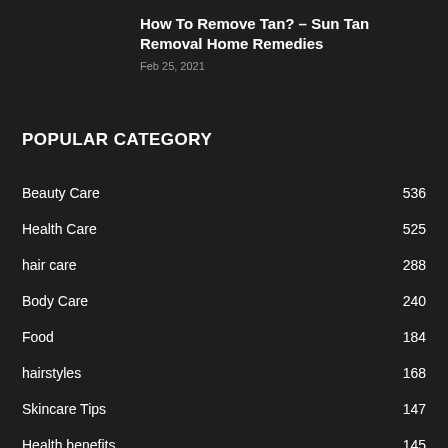How To Remove Tan? – Sun Tan Removal Home Remedies
Feb 25, 2021
POPULAR CATEGORY
Beauty Care 536
Health Care 525
hair care 288
Body Care 240
Food 184
hairstyles 168
Skincare Tips 147
Health benefits 145
Style 139